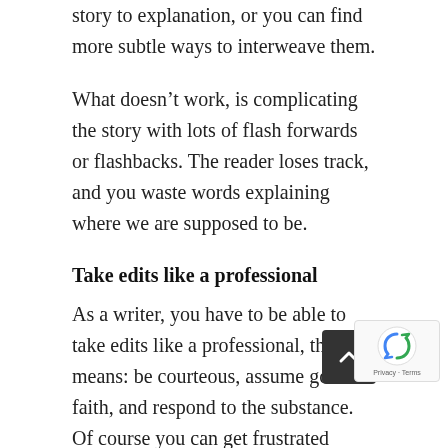story to explanation, or you can find more subtle ways to interweave them.
What doesn't work, is complicating the story with lots of flash forwards or flashbacks. The reader loses track, and you waste words explaining where we are supposed to be.
Take edits like a professional
As a writer, you have to be able to take edits like a professional, that means: be courteous, assume good faith, and respond to the substance. Of course you can get frustrated when you get back your story, all bloody with comments. 'As a freelan remember thinking: well this editor didn't get and this and this, what a moron!'